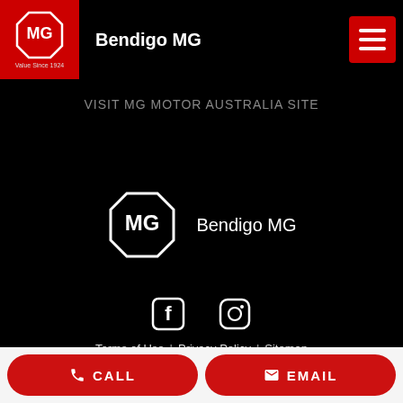[Figure (logo): MG logo in white on red background with text 'Value Since 1924']
Bendigo MG
[Figure (logo): Hamburger menu icon (three white lines) on red background]
VISIT MG MOTOR AUSTRALIA SITE
[Figure (logo): MG octagon logo in white outline on black background]
Bendigo MG
[Figure (logo): Facebook icon]
[Figure (logo): Instagram icon]
Terms of Use | Privacy Policy | Sitemap
Dealer Licence: LMCT 10624
Website by Digital Push
CALL
EMAIL